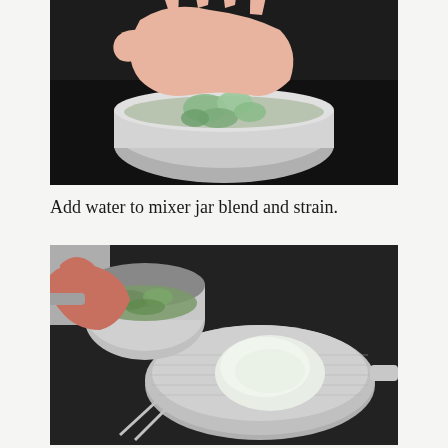[Figure (photo): A hand holding green ingredients (chopped cucumber or tomatillos) over a silver mixing bowl against a dark background]
Add water to mixer jar blend and strain.
[Figure (photo): A hand pouring blended green mixture from a small saucepan into a fine mesh strainer/sieve sitting on a dark surface, with a white blob of strained pulp visible in the strainer]